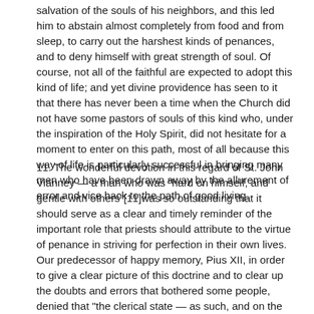salvation of the souls of his neighbors, and this led him to abstain almost completely from food and from sleep, to carry out the harshest kinds of penances, and to deny himself with great strength of soul. Of course, not all of the faithful are expected to adopt this kind of life; and yet divine providence has seen to it that there has never been a time when the Church did not have some pastors of souls of this kind who, under the inspiration of the Holy Spirit, did not hesitate for a moment to enter on this path, most of all because this way of life is particularly successful in bringing many men who have been drawn away by the allurement of error and vice back to the path of good living.
11. The wonderful devotion in this regard of St. John Vianney — a man who was "hard on himself, and gentle with others"[11]was so outstanding that it should serve as a clear and timely reminder of the important role that priests should attribute to the virtue of penance in striving for perfection in their own lives. Our predecessor of happy memory, Pius XII, in order to give a clear picture of this doctrine and to clear up the doubts and errors that bothered some people, denied that "the clerical state — as such, and on the basis of divine law — requires, of its very nature or at least as a result of some demand arising from its nature